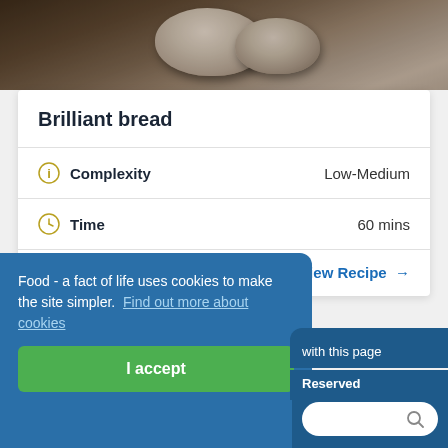[Figure (photo): Photo of bread dough on a wooden cutting board with dark background]
Brilliant bread
| Complexity | Low-Medium |
| Time | 60 mins |
View Recipe →
Food - a fact of life uses cookies to make the site simpler. Find out more about cookies
with this page
Reserved
I accept